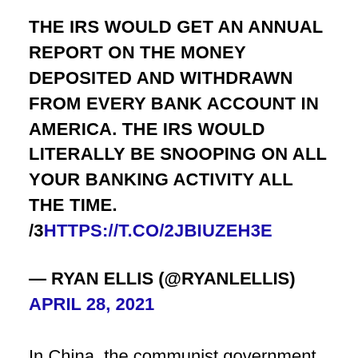THE IRS WOULD GET AN ANNUAL REPORT ON THE MONEY DEPOSITED AND WITHDRAWN FROM EVERY BANK ACCOUNT IN AMERICA. THE IRS WOULD LITERALLY BE SNOOPING ON ALL YOUR BANKING ACTIVITY ALL THE TIME. /3HTTPS://T.CO/2JBIUZEH3E
— RYAN ELLIS (@RYANLELLIS) APRIL 28, 2021
In China, the communist government installs security cameras at nearly every street corner to